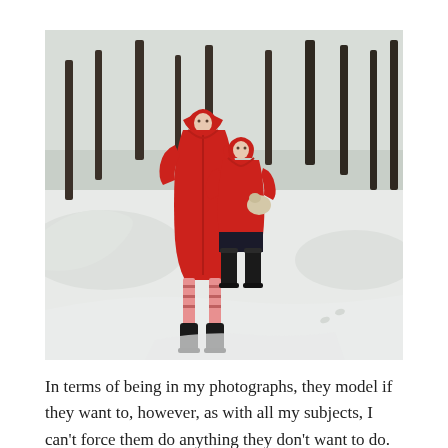[Figure (photo): Two young girls standing in snow, both wearing red hooded puffer coats. The taller girl on the left wears a long red coat with pink striped leggings and black boots. The shorter girl on the right wears a shorter red coat with black rubber boots and holds a small stuffed animal. Dark trees are visible in the snowy background.]
In terms of being in my photographs, they model if they want to, however, as with all my subjects, I can't force them do anything they don't want to do. Although, I can...